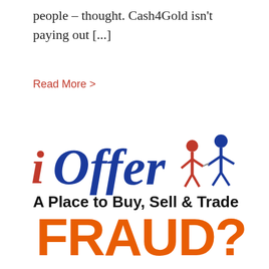people – thought. Cash4Gold isn't paying out [...]
Read More >
[Figure (logo): iOffer logo with tagline 'A Place to Buy, Sell & Trade' and large orange 'FRAUD?' text below]